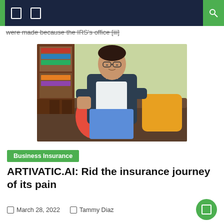Navigation header with icons and search
were made because the IRS's office [iii]
[Figure (photo): A man in a dark blazer and glasses sitting on a brown sofa with red and yellow cushions, in front of a bookshelf and green wall.]
Business Insurance
ARTIVATIC.AI: Rid the insurance journey of its pain
March 28, 2022   Tammy Diaz